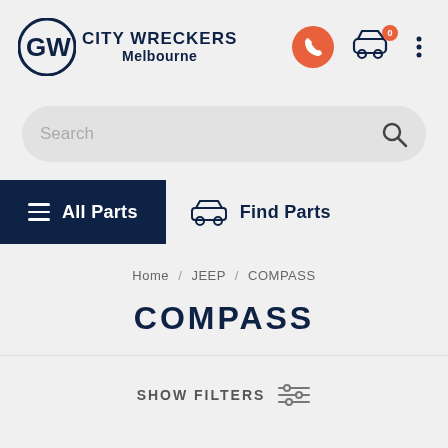[Figure (logo): City Wreckers Melbourne logo with GW monogram and navigation icons including phone, cart with badge 0, and menu]
[Figure (screenshot): Search bar with placeholder text Search and magnifying glass icon]
[Figure (screenshot): Navigation bar with All Parts hamburger menu on dark navy background and Find Parts with car icon]
Home / JEEP / COMPASS
COMPASS
SHOW FILTERS